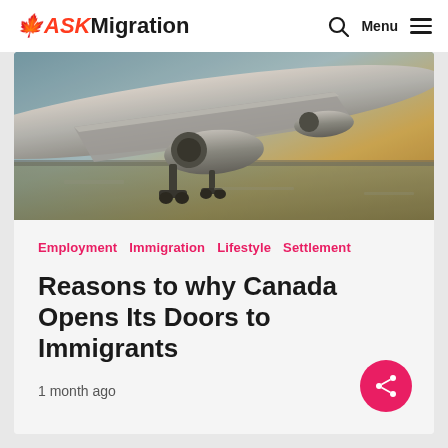ASKMigration — Menu
[Figure (photo): Airplane on runway, viewed from below and behind showing landing gear and engines against a warm sky]
Employment   Immigration   Lifestyle   Settlement
Reasons to why Canada Opens Its Doors to Immigrants
1 month ago